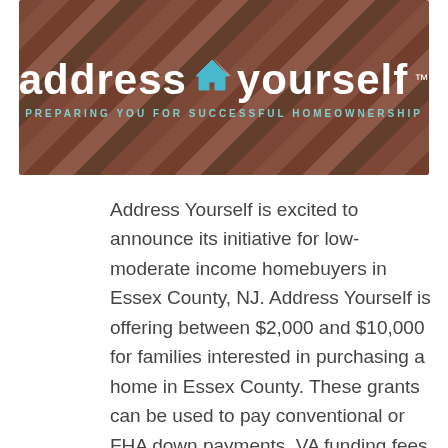[Figure (photo): Address Yourself banner image with aerial view of rooftops and the text 'address yourself — Preparing You for Successful Homeownership']
Address Yourself is excited to announce its initiative for low-moderate income homebuyers in Essex County, NJ. Address Yourself is offering between $2,000 and $10,000 for families interested in purchasing a home in Essex County. These grants can be used to pay conventional or FHA down payments, VA funding fees or closing costs. Call 732-640-2061, ext.310 today to discuss your eligibility for this product! If you don't have time to call, fill out this online form (here)